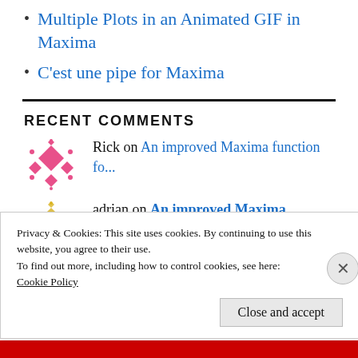Multiple Plots in an Animated GIF in Maxima
C'est une pipe for Maxima
RECENT COMMENTS
Rick on An improved Maxima function fo...
adrian on An improved Maxima function fo...
Privacy & Cookies: This site uses cookies. By continuing to use this website, you agree to their use.
To find out more, including how to control cookies, see here:
Cookie Policy
Close and accept